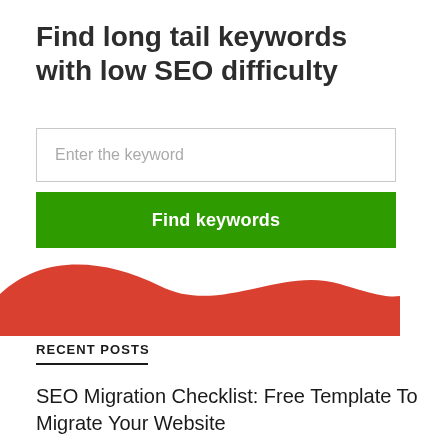Find long tail keywords with low SEO difficulty
Enter the keyword
Find keywords
[Figure (illustration): Red wave / decorative swoosh shape at bottom of widget area]
RECENT POSTS
SEO Migration Checklist: Free Template To Migrate Your Website